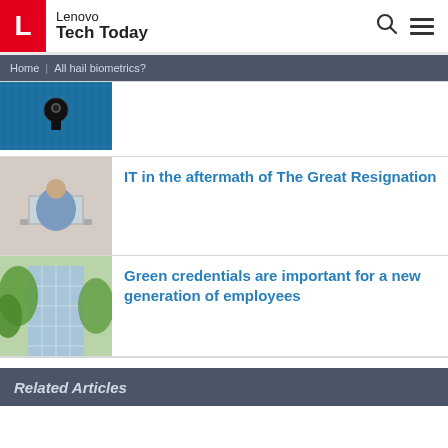Lenovo Tech Today
Home | All hail biometrics?
[Figure (photo): Cybersecurity themed image with keyhole on digital blue background]
[Figure (photo): Person working on laptop, back view]
IT in the aftermath of The Great Resignation
[Figure (photo): Looking up at green trees and tall building glass facade]
Green credentials are important for a new generation of employees
Related Articles